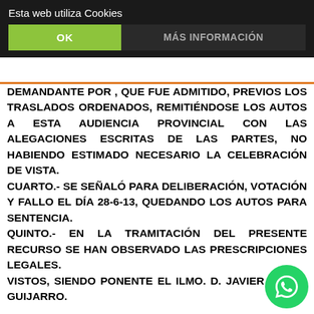Esta web utiliza Cookies
OK | MÁS INFORMACIÓN
DEMANDANTE POR , QUE FUE ADMITIDO, PREVIOS LOS TRASLADOS ORDENADOS, REMITIÉNDOSE LOS AUTOS A ESTA AUDIENCIA PROVINCIAL CON LAS ALEGACIONES ESCRITAS DE LAS PARTES, NO HABIENDO ESTIMADO NECESARIO LA CELEBRACIÓN DE VISTA. CUARTO.- SE SEÑALÓ PARA DELIBERACIÓN, VOTACIÓN Y FALLO EL DÍA 28-6-13, QUEDANDO LOS AUTOS PARA SENTENCIA. QUINTO.- EN LA TRAMITACIÓN DEL PRESENTE RECURSO SE HAN OBSERVADO LAS PRESCRIPCIONES LEGALES. VISTOS, SIENDO PONENTE EL ILMO. D. JAVIER ANTÓN GUIJARRO.